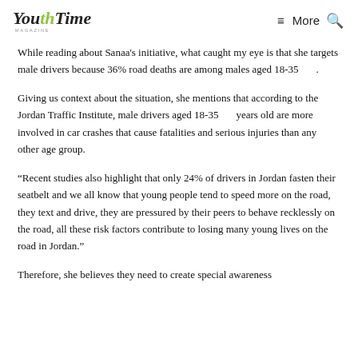YouthTime Magazine | More (search)
While reading about Sanaa's initiative, what caught my eye is that she targets male drivers because 36% road deaths are among males aged 18-35 .
Giving us context about the situation, she mentions that according to the Jordan Traffic Institute, male drivers aged 18-35 years old are more involved in car crashes that cause fatalities and serious injuries than any other age group.
“Recent studies also highlight that only 24% of drivers in Jordan fasten their seatbelt and we all know that young people tend to speed more on the road, they text and drive, they are pressured by their peers to behave recklessly on the road, all these risk factors contribute to losing many young lives on the road in Jordan.”
Therefore, she believes they need to create special awareness